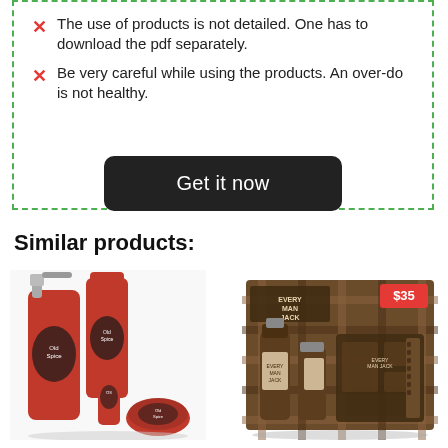The use of products is not detailed. One has to download the pdf separately.
Be very careful while using the products. An over-do is not healthy.
Get it now
Similar products:
[Figure (photo): Old Spice grooming product set with red bottles including body wash, deodorant, face wash and shave wax]
[Figure (photo): Every Man Jack grooming kit in brown plaid packaging, priced at $35, containing hair and beard care products]